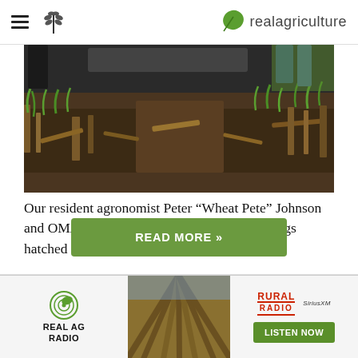realagriculture
[Figure (photo): Close-up of a farm field with corn stubble residue and emerging green wheat sprouts in dark soil. People's feet and legs visible at top.]
Our resident agronomist Peter “Wheat Pete” Johnson and OMAFRA cereals specialist Joanna Follings hatched a nifty plan a little while back to test...
READ MORE »
[Figure (other): Real Ag Radio advertisement banner with Rural Radio and SiriusXM logos and a Listen Now button, with a field background image in the center.]